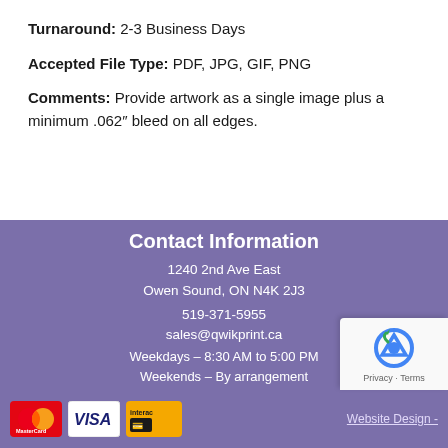Turnaround: 2-3 Business Days
Accepted File Type: PDF, JPG, GIF, PNG
Comments: Provide artwork as a single image plus a minimum .062" bleed on all edges.
Contact Information
1240 2nd Ave East
Owen Sound, ON N4K 2J3
519-371-5955
sales@qwikprint.ca
Weekdays – 8:30 AM to 5:00 PM
Weekends – By arrangement
[Figure (logo): Facebook icon button]
[Figure (logo): Payment icons: MasterCard, VISA, Interac]
Website Design -
[Figure (other): reCAPTCHA badge with Privacy and Terms]